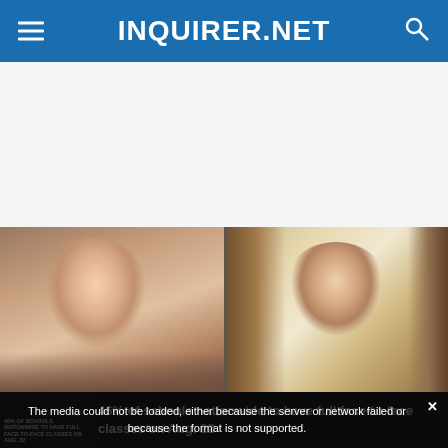INQUIRER.NET
[Figure (photo): Two female celebrities in a side-by-side photo layout against warm-toned backgrounds]
The media could not be loaded, either because the server or network failed or because the format is not supported.
46% of schools nationwide to have full face-to-face classes on Aug. 22
46% OF SCHOOLS NATIONWIDE TO HAVE FULL FACE-TO-FACE CLASSES ON AUG. 22